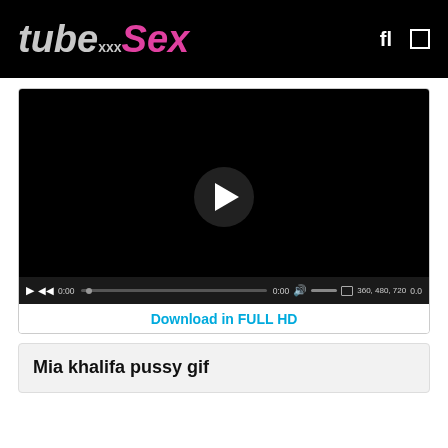tubeSex XXX — site header with logo and navigation icons
[Figure (screenshot): Black video player with centered play button and video controls bar showing: play, rewind, 0:00, progress bar, 0:00, mute, volume bar, fullscreen, 360/480/720 quality options, 0.0 speed]
Download in FULL HD
Mia khalifa pussy gif